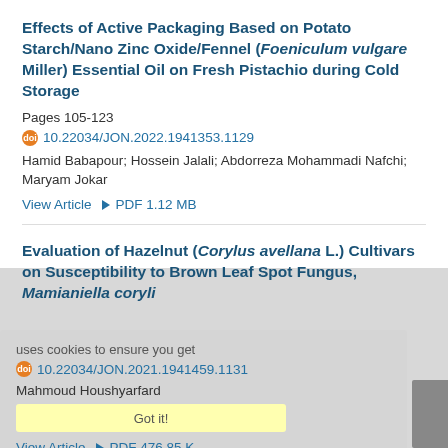Effects of Active Packaging Based on Potato Starch/Nano Zinc Oxide/Fennel (Foeniculum vulgare Miller) Essential Oil on Fresh Pistachio during Cold Storage
Pages 105-123
10.22034/JON.2022.1941353.1129
Hamid Babapour; Hossein Jalali; Abdorreza Mohammadi Nafchi; Maryam Jokar
View Article  ▶ PDF 1.12 MB
Evaluation of Hazelnut (Corylus avellana L.) Cultivars on Susceptibility to Brown Leaf Spot Fungus, Mamianiella coryli
Pages 125-130
10.22034/JON.2021.1941459.1131
Mahmoud Houshyarfard
View Article  ▶ PDF 476.85 K